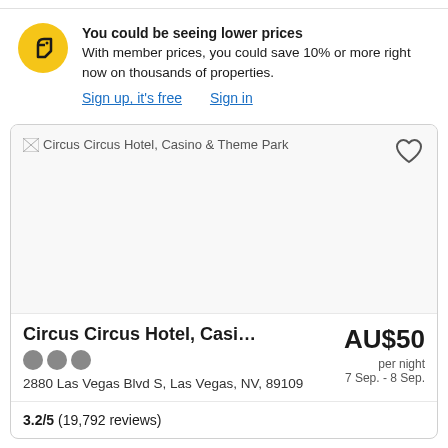You could be seeing lower prices
With member prices, you could save 10% or more right now on thousands of properties.
Sign up, it's free    Sign in
[Figure (photo): Circus Circus Hotel, Casino & Theme Park hotel photo placeholder]
Circus Circus Hotel, Casino & Th...
AU$50 per night
7 Sep. - 8 Sep.
2880 Las Vegas Blvd S, Las Vegas, NV, 89109
3.2/5 (19,792 reviews)